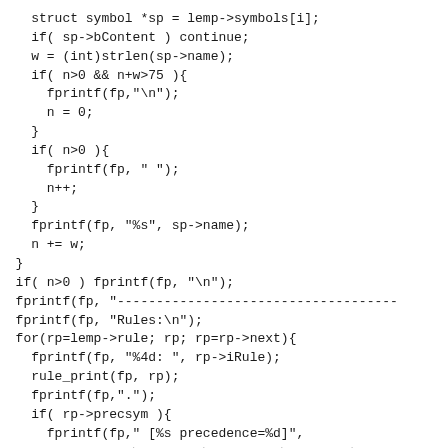struct symbol *sp = lemp->symbols[i];
    if( sp->bContent ) continue;
    w = (int)strlen(sp->name);
    if( n>0 && n+w>75 ){
      fprintf(fp,"\n");
      n = 0;
    }
    if( n>0 ){
      fprintf(fp, " ");
      n++;
    }
    fprintf(fp, "%s", sp->name);
    n += w;
  }
  if( n>0 ) fprintf(fp, "\n");
  fprintf(fp, "-----------------------------------
  fprintf(fp, "Rules:\n");
  for(rp=lemp->rule; rp; rp=rp->next){
    fprintf(fp, "%4d: ", rp->iRule);
    rule_print(fp, rp);
    fprintf(fp,".");
    if( rp->precsym ){
      fprintf(fp," [%s precedence=%d]",
              rp->precsym->name, rp->precsym->
    }
    fprintf(fp,"\n");
  }
  fclose(fp);